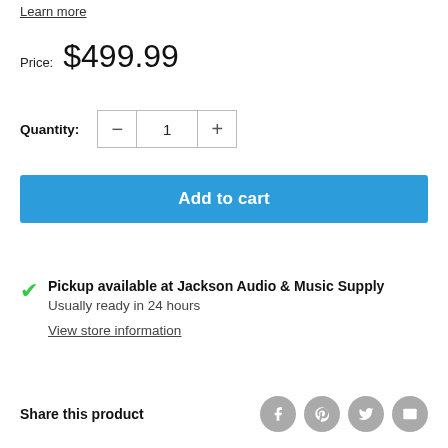Learn more
Price: $499.99
Quantity: − 1 +
Add to cart
Pickup available at Jackson Audio & Music Supply
Usually ready in 24 hours
View store information
Share this product